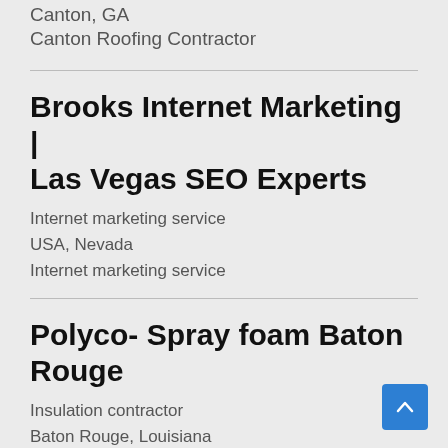Canton, GA
Canton Roofing Contractor
Brooks Internet Marketing | Las Vegas SEO Experts
Internet marketing service
USA, Nevada
Internet marketing service
Polyco- Spray foam Baton Rouge
Insulation contractor
Baton Rouge, Louisiana
#1 Spray foam Company in Baton Rouge!